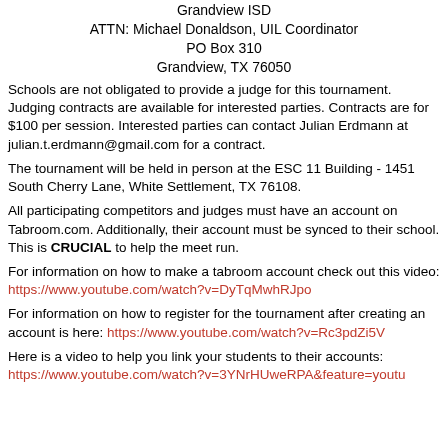Grandview ISD
ATTN: Michael Donaldson, UIL Coordinator
PO Box 310
Grandview, TX 76050
Schools are not obligated to provide a judge for this tournament. Judging contracts are available for interested parties. Contracts are for $100 per session. Interested parties can contact Julian Erdmann at julian.t.erdmann@gmail.com for a contract.
The tournament will be held in person at the ESC 11 Building - 1451 South Cherry Lane, White Settlement, TX 76108.
All participating competitors and judges must have an account on Tabroom.com. Additionally, their account must be synced to their school. This is CRUCIAL to help the meet run.
For information on how to make a tabroom account check out this video: https://www.youtube.com/watch?v=DyTqMwhRJpo
For information on how to register for the tournament after creating an account is here: https://www.youtube.com/watch?v=Rc3pdZi5V
Here is a video to help you link your students to their accounts: https://www.youtube.com/watch?v=3YNrHUweRPA&feature=youtu